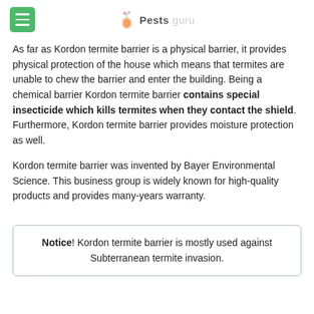Pests.guru
As far as Kordon termite barrier is a physical barrier, it provides physical protection of the house which means that termites are unable to chew the barrier and enter the building. Being a chemical barrier Kordon termite barrier contains special insecticide which kills termites when they contact the shield. Furthermore, Kordon termite barrier provides moisture protection as well.
Kordon termite barrier was invented by Bayer Environmental Science. This business group is widely known for high-quality products and provides many-years warranty.
Notice! Kordon termite barrier is mostly used against Subterranean termite invasion.